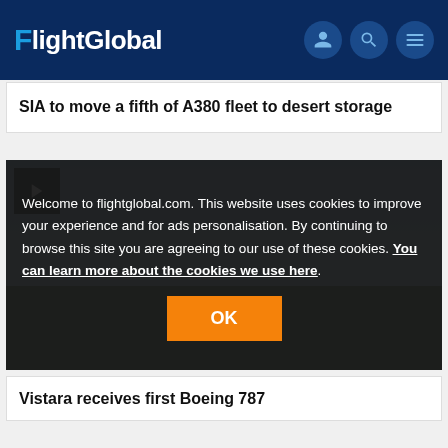FlightGlobal
SIA to move a fifth of A380 fleet to desert storage
[Figure (screenshot): Video thumbnail showing airport runway scene with sky background, with play button in top-left corner. A cookie consent overlay covers the video with text and an OK button.]
Welcome to flightglobal.com. This website uses cookies to improve your experience and for ads personalisation. By continuing to browse this site you are agreeing to our use of these cookies. You can learn more about the cookies we use here.
Vistara receives first Boeing 787